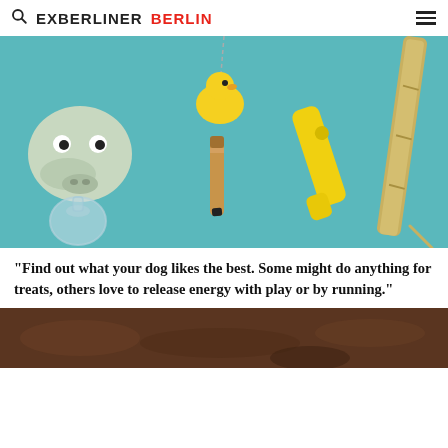EXBERLINER BERLIN
[Figure (photo): Various dog toys and instruments floating on a teal background: a hippo squeeze toy, a yellow rubber duck keychain, a wooden tube/pen, a yellow kazoo, and a bamboo flute/stick]
“Find out what your dog likes the best. Some might do anything for treats, others love to release energy with play or by running.”
[Figure (photo): Bottom portion of a photo showing a brown earthy/dirt texture background]